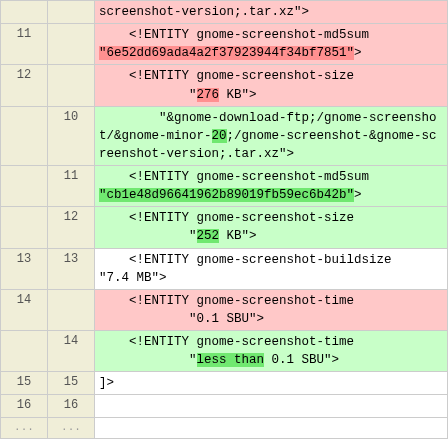| line-old | line-new | code |
| --- | --- | --- |
|  |  | screenshot-version;.tar.xz"> |
| 11 |  |     <!ENTITY gnome-screenshot-
md5sum
"6e52dd69ada4a2f37923944f34bf7851"> |
| 12 |  |     <!ENTITY gnome-screenshot-size
            "276 KB"> |
|  | 10 |         "&gnome-download-
ftp;/gnome-screenshot/&gnome-
minor-20;/gnome-screenshot-&gnome-
screenshot-version;.tar.xz"> |
|  | 11 |     <!ENTITY gnome-screenshot-
md5sum
"cb1e48d96641962b89019fb59ec6b42b"> |
|  | 12 |     <!ENTITY gnome-screenshot-size
            "252 KB"> |
| 13 | 13 |     <!ENTITY gnome-screenshot-
buildsize      "7.4 MB"> |
| 14 |  |     <!ENTITY gnome-screenshot-time
            "0.1 SBU"> |
|  | 14 |     <!ENTITY gnome-screenshot-time
            "less than 0.1 SBU"> |
| 15 | 15 | ]> |
| 16 | 16 |  |
| ... | ... |  |